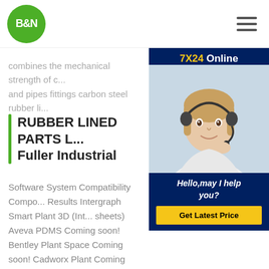B&N
combines the mechanical strength of... and pipes fittings carbon steel rubber li...
RUBBER LINED PARTS L... Fuller Industrial
[Figure (photo): 7X24 Online chat support widget showing a woman with headset, with 'Hello, may I help you?' text and a 'Get Latest Price' button]
Software System Compatibility Compo... Results Intergraph Smart Plant 3D (Int... sheets) Aveva PDMS Coming soon! Bentley Plant Space Coming soon! Cadworx Plant Coming soon! Rubber Lined Pipe - ThomasnetAbtrex Industries, Inc., Michigan, Indiana & Pennsylvania. ico-map. Locations Manufacturer*, Custom Manufacturer $10 - 24.9 Mil 1968 50-99. Custom manufacturer of rubber